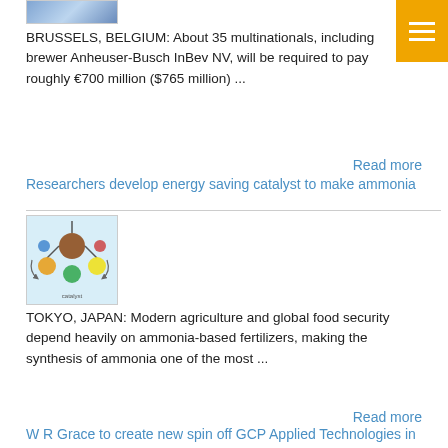[Figure (photo): Small image thumbnail at top, partially visible, blue tones]
BRUSSELS, BELGIUM: About 35 multinationals, including brewer Anheuser-Busch InBev NV, will be required to pay roughly €700 million ($765 million) ...
Read more
Researchers develop energy saving catalyst to make ammonia
[Figure (illustration): Scientific illustration showing molecular catalyst structures on light blue background with colored circular molecules and arrows]
TOKYO, JAPAN: Modern agriculture and global food security depend heavily on ammonia-based fertilizers, making the synthesis of ammonia one of the most ...
Read more
W R Grace to create new spin off GCP Applied Technologies in Feb